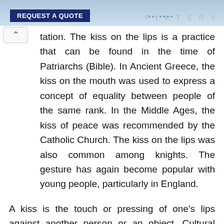REQUEST A QUOTE   FILTERS
tation. The kiss on the lips is a practice that can be found in the time of Patriarchs (Bible). In Ancient Greece, the kiss on the mouth was used to express a concept of equality between people of the same rank. In the Middle Ages, the kiss of peace was recommended by the Catholic Church. The kiss on the lips was also common among knights. The gesture has again become popular with young people, particularly in England.
A kiss is the touch or pressing of one's lips against another person or an object. Cultural connotations of kissing vary widely. Depending on the culture and context, a kiss can express sentiments of love, passion, romance, sexual attraction, sexual activity, sexual arousal, affection, respect, greeting, friendship, peace, and good luck, among many others. In some situations, a kiss is a ritual, formal or